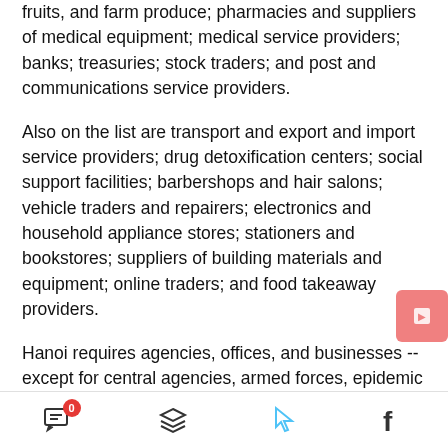fruits, and farm produce; pharmacies and suppliers of medical equipment; medical service providers; banks; treasuries; stock traders; and post and communications service providers.
Also on the list are transport and export and import service providers; drug detoxification centers; social support facilities; barbershops and hair salons; vehicle traders and repairers; electronics and household appliance stores; stationers and bookstores; suppliers of building materials and equipment; online traders; and food takeaway providers.
Hanoi requires agencies, offices, and businesses -- except for central agencies, armed forces, epidemic prevention and control units, diplomatic agencies, and international organizations -- to arrange for 50 percent
[icons: comment with badge 0, layers, cursor, facebook]